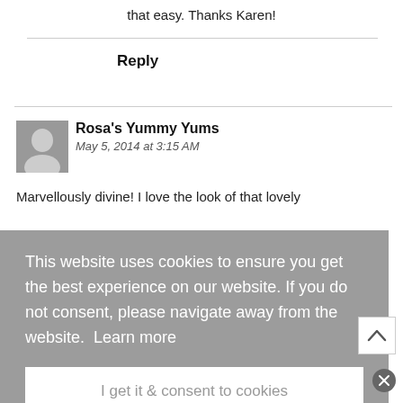that easy. Thanks Karen!
Reply
Rosa's Yummy Yums
May 5, 2014 at 3:15 AM
Marvellously divine! I love the look of that lovely...
This website uses cookies to ensure you get the best experience on our website. If you do not consent, please navigate away from the website. Learn more
I get it & consent to cookies